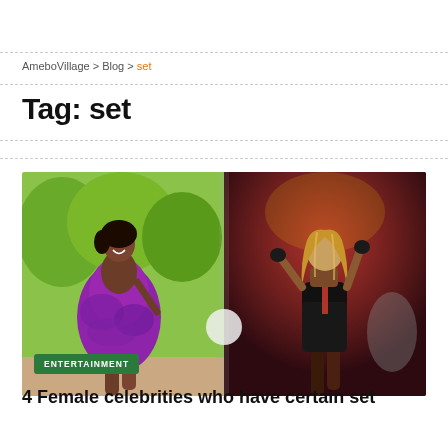AmeboVillage > Blog > set
Tag: set
[Figure (photo): Two female celebrities: left shows a woman in a purple ruffled mini dress posing outdoors; right shows a performer (Beyoncé) on stage in a black leather and lace outfit with arms raised]
ENTERTAINMENT
4 Female celebrities who have certain set